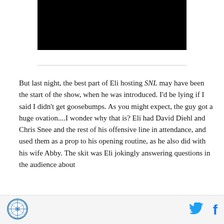[Figure (photo): Black rectangle image placeholder at top of page]
But last night, the best part of Eli hosting SNL may have been the start of the show, when he was introduced. I'd be lying if I said I didn't get goosebumps. As you might expect, the guy got a huge ovation....I wonder why that is? Eli had David Diehl and Chris Snee and the rest of his offensive line in attendance, and used them as a prop to his opening routine, as he also did with his wife Abby. The skit was Eli jokingly answering questions in the audience about
Logo | Twitter | Facebook